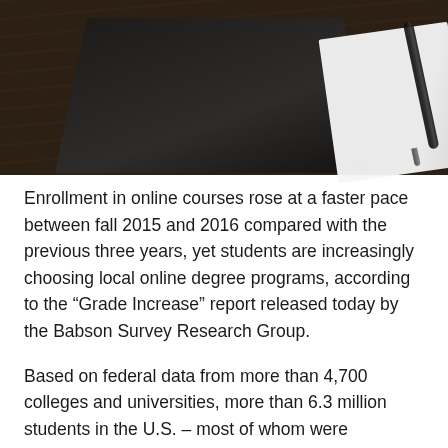[Figure (photo): Overhead photo of a dark wooden desk with a dark laptop/tablet device, an open white notebook, and a black pen resting on the surface.]
Enrollment in online courses rose at a faster pace between fall 2015 and 2016 compared with the previous three years, yet students are increasingly choosing local online degree programs, according to the “Grade Increase” report released today by the Babson Survey Research Group.
Based on federal data from more than 4,700 colleges and universities, more than 6.3 million students in the U.S. – most of whom were undergraduates – took at least one online course in fall 2016, a 5.6 percent increase from the previous year. This is the 14th consecutive year that Babson has reported growth in online enrollment.
“No matter how much we think that there might be something